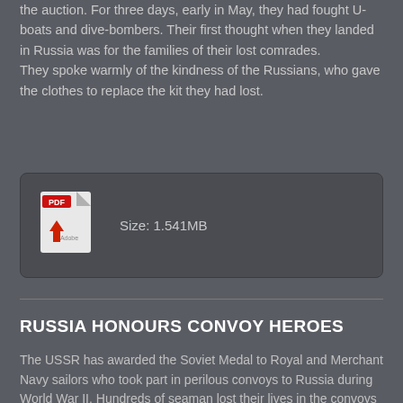the auction. For three days, early in May, they had fought U-boats and dive-bombers. Their first thought when they landed in Russia was for the families of their lost comrades. They spoke warmly of the kindness of the Russians, who gave the clothes to replace the kit they had lost.
[Figure (other): PDF download icon with Adobe logo and file size label reading 'Size: 1.541MB']
RUSSIA HONOURS CONVOY HEROES
The USSR has awarded the Soviet Medal to Royal and Merchant Navy sailors who took part in perilous convoys to Russia during World War II. Hundreds of seaman lost their lives in the convoys from Scapa Flow in Orkney, to Murmansk and Archangel to supply food and arms to the soviets after Hitler's invasion of Russia. The Admiralty never struck a